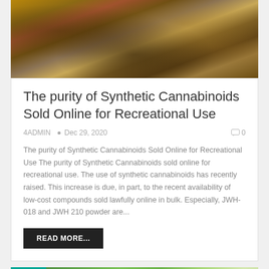[Figure (photo): Close-up photo of dried brown plant material, likely synthetic cannabinoid or herbal mixture]
The purity of Synthetic Cannabinoids Sold Online for Recreational Use
4ADMIN  •  Dec 29, 2020   ◻ 0
The purity of Synthetic Cannabinoids Sold Online for Recreational Use The purity of Synthetic Cannabinoids sold online for recreational use. The use of synthetic cannabinoids has recently raised. This increase is due, in part, to the recent availability of low-cost compounds sold lawfully online in bulk. Especially, JWH-018 and JWH 210 powder are...
READ MORE...
[Figure (photo): Close-up photo of green plant leaves, cannabis or similar plant, with Drugs badge overlay]